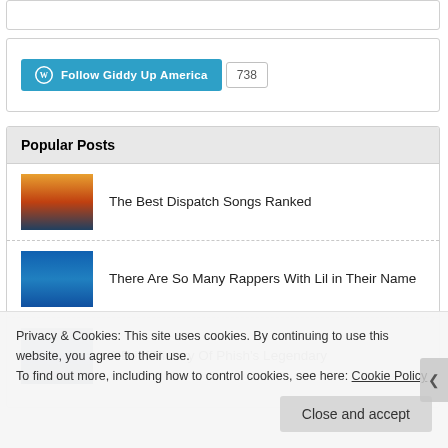[Figure (screenshot): Top white box partial content area]
[Figure (screenshot): WordPress Follow Giddy Up America button with 738 follower count badge]
Popular Posts
The Best Dispatch Songs Ranked
There Are So Many Rappers With Lil in Their Name
A Brief History Of Phish's Legendary
Privacy & Cookies: This site uses cookies. By continuing to use this website, you agree to their use.
To find out more, including how to control cookies, see here: Cookie Policy
Close and accept